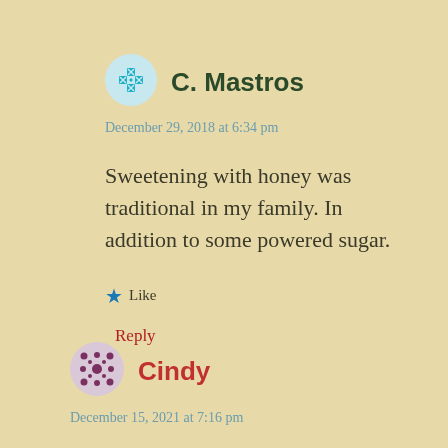[Figure (illustration): Teal decorative avatar icon for user C. Mastros]
C. Mastros
December 29, 2018 at 6:34 pm
Sweetening with honey was traditional in my family. In addition to some powered sugar.
★ Like
Reply
[Figure (illustration): Purple/maroon decorative avatar icon for user Cindy]
Cindy
December 15, 2021 at 7:16 pm